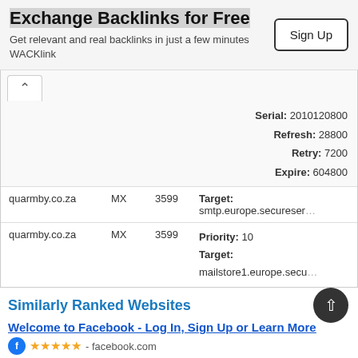Exchange Backlinks for Free
Get relevant and real backlinks in just a few minutes WACKlink
|  |  |  |  |
| --- | --- | --- | --- |
|  |  |  | Serial: 2010120800 |
|  |  |  | Refresh: 28800 |
|  |  |  | Retry: 7200 |
|  |  |  | Expire: 604800 |
| quarmby.co.za | MX | 3599 | Target: smtp.europe.secureserver... |
| quarmby.co.za | MX | 3599 | Priority: 10
Target: mailstore1.europe.secu... |
Similarly Ranked Websites
Welcome to Facebook - Log In, Sign Up or Learn More
- facebook.com
Facebook is a social utility that connects people with friends and others who wo... People use Facebook to keep up with...
PAGERANK 9   2   R 51,055,103,908.80